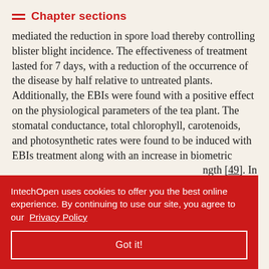Chapter sections
mediated the reduction in spore load thereby controlling blister blight incidence. The effectiveness of treatment lasted for 7 days, with a reduction of the occurrence of the disease by half relative to untreated plants. Additionally, the EBIs were found with a positive effect on the physiological parameters of the tea plant. The stomatal conductance, total chlorophyll, carotenoids, and photosynthetic rates were found to be induced with EBIs treatment along with an increase in biometric …ngth [49]. In …ic fungicides …s been used at …ays interval …board of
IntechOpen uses cookies to offer you the best online experience. By continuing to use our site, you agree to our Privacy Policy
Got it!